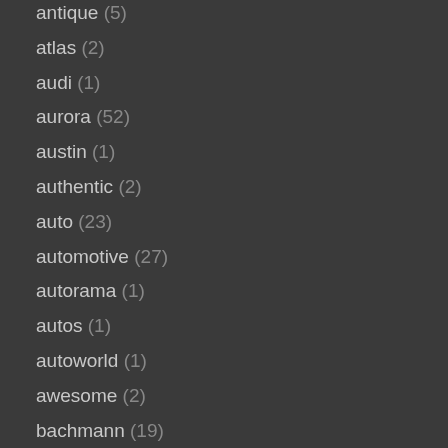antique (5)
atlas (2)
audi (1)
aurora (52)
austin (1)
authentic (2)
auto (23)
automotive (27)
autorama (1)
autos (1)
autoworld (1)
awesome (2)
bachmann (19)
ben10 (1)
best (4)
biggest (4)
bing (1)
black (2)